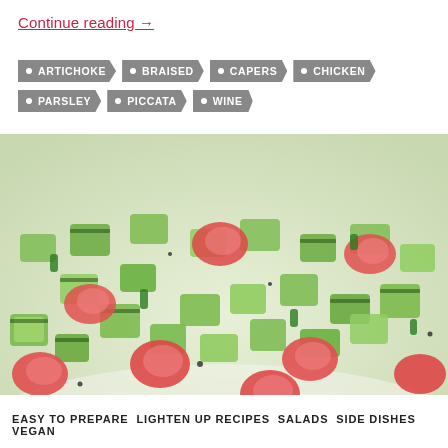Continue reading →
ARTICHOKE
BRAISED
CAPERS
CHICKEN
PARSLEY
PICCATA
WINE
[Figure (photo): Close-up photo of a fresh salad with diced cucumbers, tomatoes, and herbs on a white plate]
EASY TO PREPARE  LIGHTEN UP RECIPES  SALADS  SIDE DISHES  VEGAN